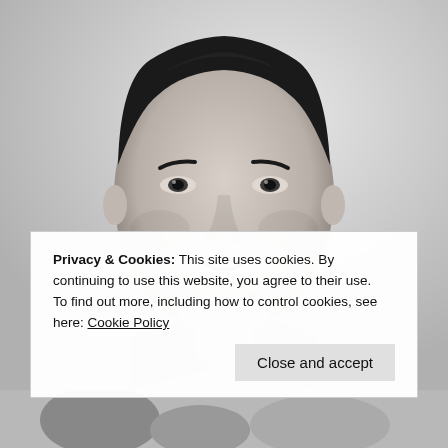[Figure (photo): Black and white portrait photograph of a young Asian man with dark hair, wearing a suit and tie, looking slightly to the side with a thoughtful expression.]
Privacy & Cookies: This site uses cookies. By continuing to use this website, you agree to their use.
To find out more, including how to control cookies, see here: Cookie Policy
Close and accept